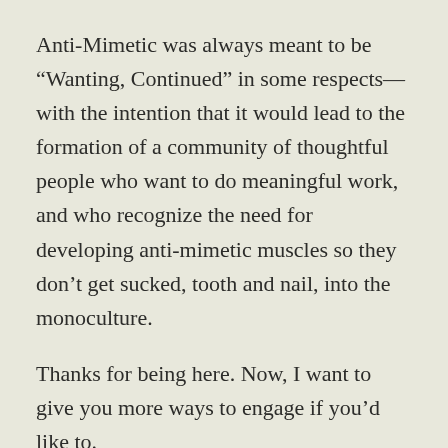Anti-Mimetic was always meant to be “Wanting, Continued” in some respects—with the intention that it would lead to the formation of a community of thoughtful people who want to do meaningful work, and who recognize the need for developing anti-mimetic muscles so they don’t get sucked, tooth and nail, into the monoculture.
Thanks for being here. Now, I want to give you more ways to engage if you’d like to.
If you aren’t a premium subscriber, you’ll still